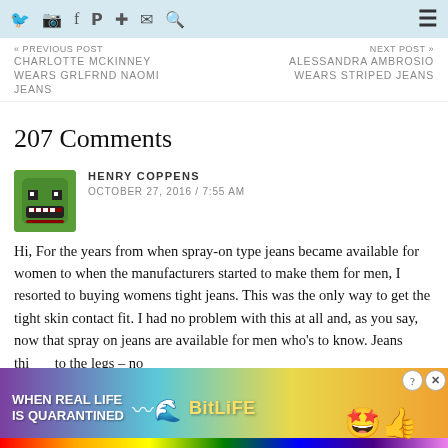Social media icons and navigation bar
« PREVIOUS POST
CHARLOTTE MCKINNEY WEARS GRLFRND NAOMI JEANS
NEXT POST »
ALESSANDRA AMBROSIO WEARS STRIPED JEANS
207 Comments
HENRY COPPENS
OCTOBER 27, 2016 / 7:55 AM
Hi, For the years from when spray-on type jeans became available for women to when the manufacturers started to make them for men, I resorted to buying womens tight jeans. This was the only way to get the tight skin contact fit. I had no problem with this at all and, as you say, now that spray on jeans are available for men who's to know. Jeans thi... to the legs – no...
[Figure (other): Advertisement overlay: BitLife 'When Real Life Is Quarantined' colorful banner ad with emoji characters, with Close X button]